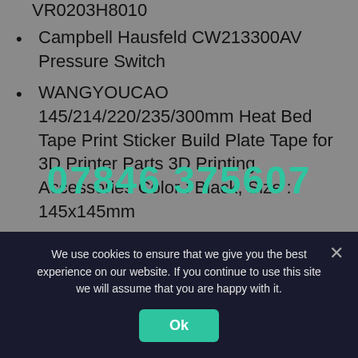VR0203H8010
Campbell Hausfeld CW213300AV Pressure Switch
WANGYOUCAO 145/214/220/235/300mm Heat Bed Tape Print Sticker Build Plate Tape for 3D Printer Parts 3D Printing Accessories Color : Black, Size : 145x145mm
Opaque Black Polyamide Round Rod Standard Tolerance 12 Length ASTM D4066 PA 0100L01 1 Diameter
07846 375607
We use cookies to ensure that we give you the best experience on our website. If you continue to use this site we will assume that you are happy with it.